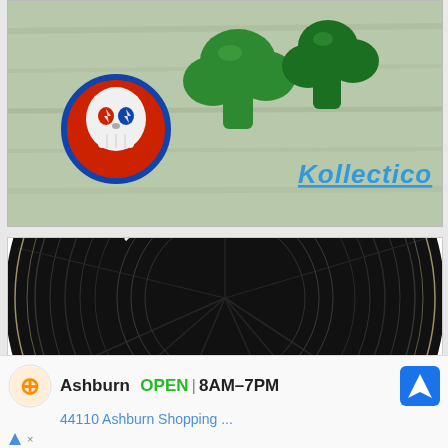[Figure (photo): Advertisement banner showing green toy figures (shamrock/Hulk-like shapes) on a wooden green background, with a Grateful Dead skull logo on the left and 'Kollectico' branding text in blue on the right.]
[Figure (logo): 23 East Ardmore record store logo — a black vinyl record circle with '23 EAST' text arched at the top and 'Ardmore' in large cream/blue retro script lettering across the bottom half.]
Ashburn  OPEN | 8AM–7PM
44110 Ashburn Shopping ...